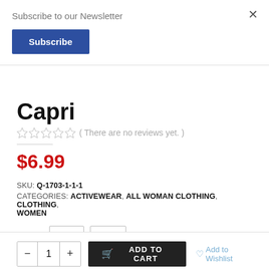Subscribe to our Newsletter
Subscribe
×
Capri
( There are no reviews yet. )
$6.99
SKU: Q-1703-1-1-1
CATEGORIES: ACTIVEWEAR, ALL WOMAN CLOTHING, CLOTHING, WOMEN
SIZE: S/M L/XL
1
ADD TO CART
Add to Wishlist